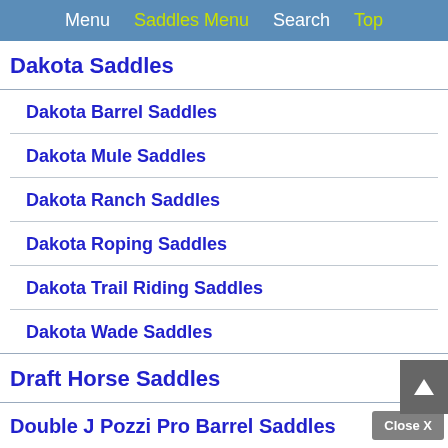Menu | Saddles Menu | Search | Top
Dakota Saddles
Dakota Barrel Saddles
Dakota Mule Saddles
Dakota Ranch Saddles
Dakota Roping Saddles
Dakota Trail Riding Saddles
Dakota Wade Saddles
Draft Horse Saddles
Double J Pozzi Pro Barrel Saddles
Do...
Close X
Ashley
Shop Tempur-Pedic Mattresses
Open